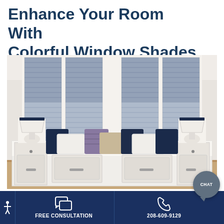Enhance Your Room With Colorful Window Shades
[Figure (photo): A living room interior featuring four large windows with blue cellular/honeycomb window shades partially lowered. Below the windows is a white built-in bench/storage unit with drawers and cabinet doors, decorated with navy and neutral throw pillows. Two white table lamps with navy shades sit on either end. The floor appears to be light hardwood.]
FREE CONSULTATION
208-609-9129